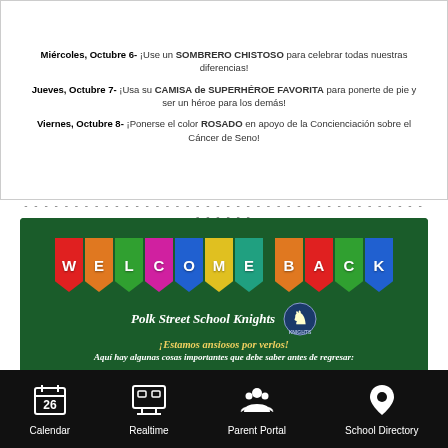Miércoles, Octubre 6- ¡Use un SOMBRERO CHISTOSO para celebrar todas nuestras diferencias!
Jueves, Octubre 7- ¡Usa su CAMISA de SUPERHÉROE FAVORITA para ponerte de pie y ser un héroe para los demás!
Viernes, Octubre 8- ¡Ponerse el color ROSADO en apoyo de la Concienciación sobre el Cáncer de Seno!
[Figure (illustration): WELCOME BACK banner with colorful pennant flags on dark green background. Below: Polk Street School Knights with knight mascot logo. Text: ¡Estamos ansiosos por verlos! Aquí hay algunas cosas importantes que debe saber antes de regresar: 1. El primer dia de clases es Septiembre 7, 2021 y todos deben usar su uniforme escolar. ¡Los máscaras son obligatorias! 2. ¡Inicie sesión en el Portal de Padres para ver su maestro y...]
Calendar | Realtime | Parent Portal | School Directory